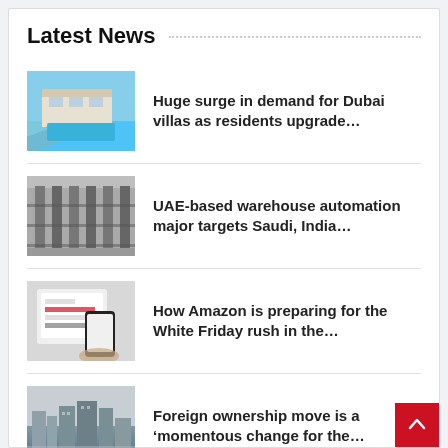Latest News
[Figure (photo): Dubai villa with swimming pool and blue sky]
Huge surge in demand for Dubai villas as residents upgrade…
[Figure (photo): UAE warehouse interior with automated storage racks]
UAE-based warehouse automation major targets Saudi, India…
[Figure (photo): Amazon shopping on tablet and smartphone]
How Amazon is preparing for the White Friday rush in the…
[Figure (photo): Aerial city view with buildings in haze]
Foreign ownership move is a ‘momentous change for the…